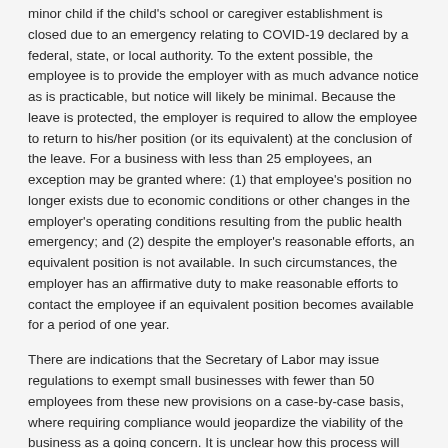minor child if the child's school or caregiver establishment is closed due to an emergency relating to COVID-19 declared by a federal, state, or local authority. To the extent possible, the employee is to provide the employer with as much advance notice as is practicable, but notice will likely be minimal. Because the leave is protected, the employer is required to allow the employee to return to his/her position (or its equivalent) at the conclusion of the leave. For a business with less than 25 employees, an exception may be granted where: (1) that employee's position no longer exists due to economic conditions or other changes in the employer's operating conditions resulting from the public health emergency; and (2) despite the employer's reasonable efforts, an equivalent position is not available. In such circumstances, the employer has an affirmative duty to make reasonable efforts to contact the employee if an equivalent position becomes available for a period of one year.
There are indications that the Secretary of Labor may issue regulations to exempt small businesses with fewer than 50 employees from these new provisions on a case-by-case basis, where requiring compliance would jeopardize the viability of the business as a going concern. It is unclear how this process will work or what evidence will be required for the exemption to apply.
EMERGENCY PAID SICK LEAVE ACT
In addition, the new law creates the Emergency Paid Sick Leave Act. This portion of the law also covers any employer with less than 500 employees, and covers all employees of those employers without regard to how long a particular employee